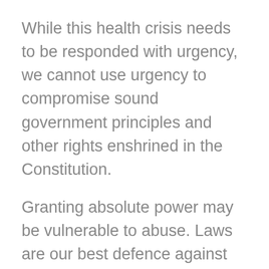While this health crisis needs to be responded with urgency, we cannot use urgency to compromise sound government principles and other rights enshrined in the Constitution.
Granting absolute power may be vulnerable to abuse. Laws are our best defence against excesses. We join the country in hoping for a solution that will help us heal and recover from the damage of the virus. But, as we move forward, we continue to stress that what is at stake are human rights of the people that should never be compromised, even in critical times.